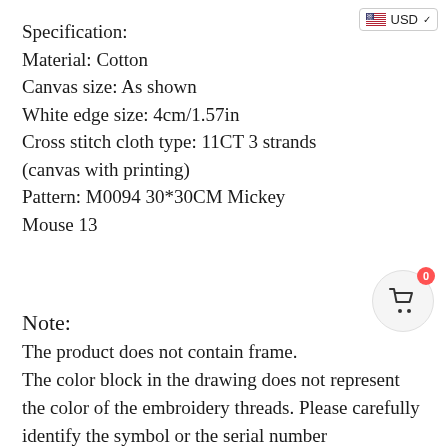[Figure (logo): USD currency selector badge with US flag icon and dropdown arrow in top right corner]
Specification:
Material: Cotton
Canvas size: As shown
White edge size: 4cm/1.57in
Cross stitch cloth type: 11CT 3 strands (canvas with printing)
Pattern: M0094 30*30CM Mickey Mouse 13
[Figure (infographic): Shopping cart icon in a circular button with a red badge showing 0]
Note:
The product does not contain frame.
The color block in the drawing does not represent the color of the embroidery threads. Please carefully identify the symbol or the serial number corresponding to the color block and select the threads number according to the requirements of the serial number.